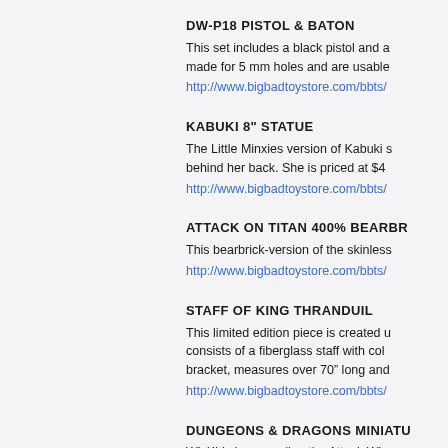DW-P18 PISTOL & BATON
This set includes a black pistol and a made for 5 mm holes and are usable
http://www.bigbadtoystore.com/bbts/
KABUKI 8" STATUE
The Little Minxies version of Kabuki s behind her back. She is priced at $4
http://www.bigbadtoystore.com/bbts/
ATTACK ON TITAN 400% BEARBR
This bearbrick-version of the skinless
http://www.bigbadtoystore.com/bbts/
STAFF OF KING THRANDUIL
This limited edition piece is created u consists of a fiberglass staff with col bracket, measures over 70” long and
http://www.bigbadtoystore.com/bbts/
DUNGEONS & DRAGONS MINIATU
WizKids is expanding the Attack Win includes a Starter Set as well as 8 ex